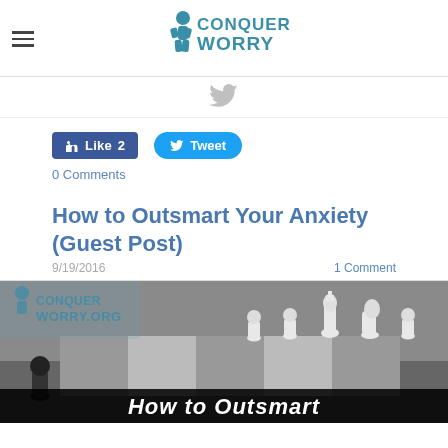Conquer Worry
[Figure (screenshot): Gray Twitter bird icon]
Like 2   Tweet
0 Comments
How to Outsmart Your Anxiety (Guest Post)
9/19/2016   1 Comment
[Figure (photo): Black and white photo of chess pieces on a board with ConquerWorry.org watermark and text overlay reading 'How to Outsmart']